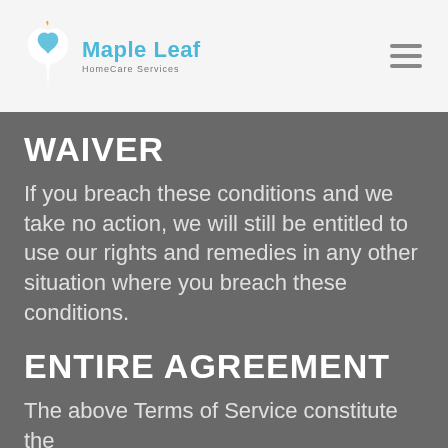Maple Leaf HomeCare Services
WAIVER
If you breach these conditions and we take no action, we will still be entitled to use our rights and remedies in any other situation where you breach these conditions.
ENTIRE AGREEMENT
The above Terms of Service constitute the